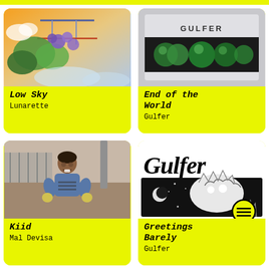[Figure (illustration): Album art for Low Sky by Lunarette — colorful illustrated artwork with purple flowers, green vines, and a bridge]
Low Sky
Lunarette
[Figure (photo): Album art for End of the World by Gulfer — gray background with 'GULFER' text at top and a dark horizontal band with green circles/shapes]
End of the World
Gulfer
[Figure (photo): Album art for Kiid by Mal Devisa — vintage photograph of a young child smiling, wearing a denim jacket, standing outdoors]
Kiid
Mal Devisa
[Figure (illustration): Album art for Greetings Barely by Gulfer — large bold 'Gulfer' text at top, black and white comic-style illustration below with moon and creature]
Greetings Barely
Gulfer